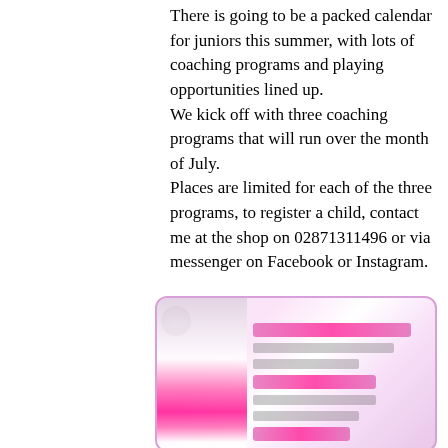There is going to be a packed calendar for juniors this summer, with lots of coaching programs and playing opportunities lined up. We kick off with three coaching programs that will run over the month of July. Places are limited for each of the three programs, to register a child, contact me at the shop on 02871311496 or via messenger on Facebook or Instagram.
[Figure (photo): A blurred promotional flyer or card with pink and white design, featuring a magenta/pink graphic element on the left side and text/bar elements on the right, with a purple-pink border.]